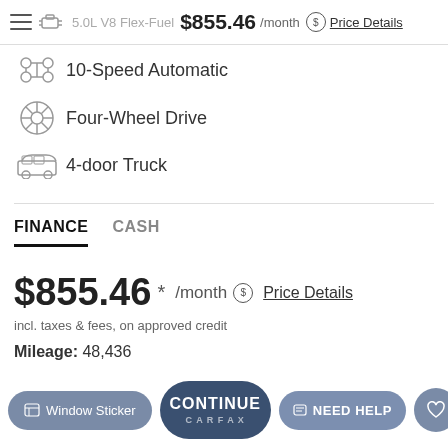5.0L V8 Flex-Fuel  $855.46 /month  Price Details
10-Speed Automatic
Four-Wheel Drive
4-door Truck
FINANCE  CASH
$855.46 * /month  Price Details
incl. taxes & fees, on approved credit
Mileage: 48,436
Window Sticker  CONTINUE  NEED HELP